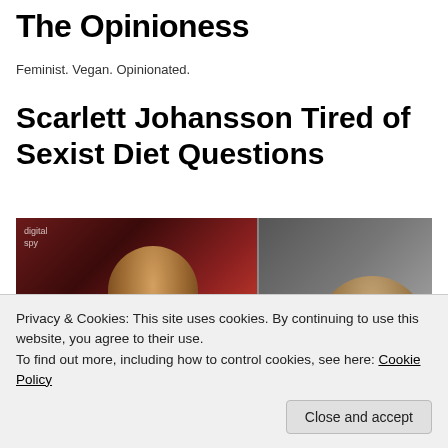The Opinioness
Feminist. Vegan. Opinionated.
Scarlett Johansson Tired of Sexist Diet Questions
[Figure (photo): Movie promotional image showing two people, with red/dark toned background on the left side and a lighter toned figure on the right side. A digital spy watermark is visible in the top left.]
Privacy & Cookies: This site uses cookies. By continuing to use this website, you agree to their use.
To find out more, including how to control cookies, see here: Cookie Policy
Close and accept